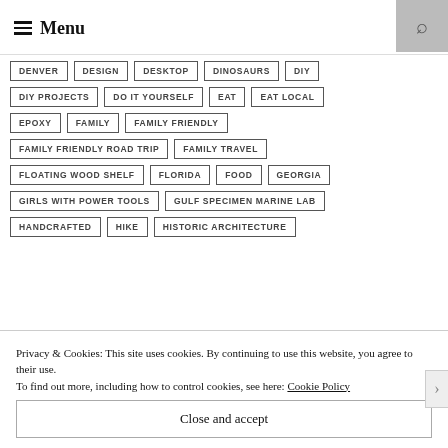Menu
DENVER
DESIGN
DESKTOP
DINOSAURS
DIY
DIY PROJECTS
DO IT YOURSELF
EAT
EAT LOCAL
EPOXY
FAMILY
FAMILY FRIENDLY
FAMILY FRIENDLY ROAD TRIP
FAMILY TRAVEL
FLOATING WOOD SHELF
FLORIDA
FOOD
GEORGIA
GIRLS WITH POWER TOOLS
GULF SPECIMEN MARINE LAB
HANDCRAFTED
HIKE
HISTORIC ARCHITECTURE
Privacy & Cookies: This site uses cookies. By continuing to use this website, you agree to their use.
To find out more, including how to control cookies, see here: Cookie Policy
Close and accept